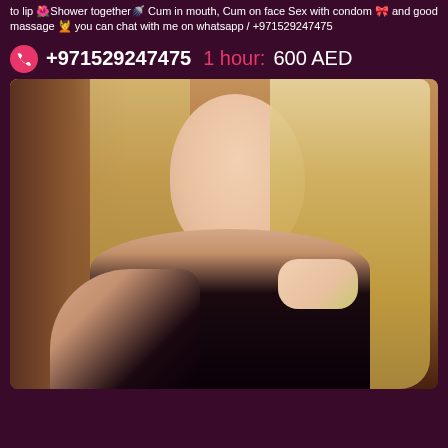to lip 🌺Shower together🚿 Cum in mouth, Cum on face Sex with condom 🎀 and good massage 💆 you can chat with me on whatsapp / +971529247475
+971529247475 1 hour: 600 AED
[Figure (photo): Portrait photo of a young blonde woman with long straight hair, resting her chin on her hand, wearing a black top and gold bracelet, posed in front of a wooden background.]